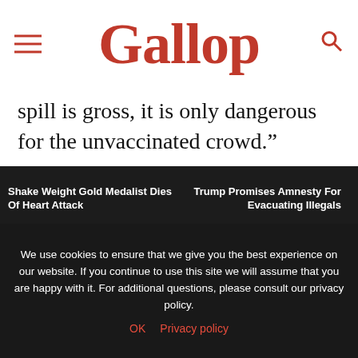Gallop
spill is gross, it is only dangerous for the unvaccinated crowd.”
[Figure (other): Social share buttons: Facebook (blue), Twitter (light blue), Pinterest (red)]
We use cookies to ensure that we give you the best experience on our website. If you continue to use this site we will assume that you are happy with it. For additional questions, please consult our privacy policy.
OK   Privacy policy